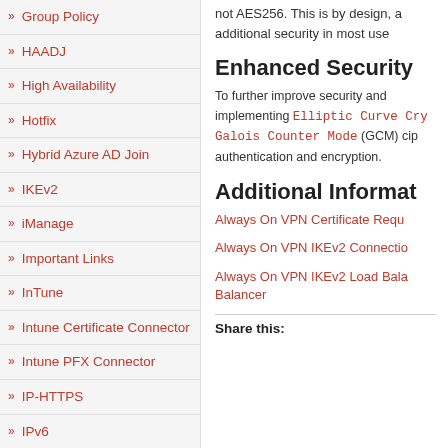Group Policy
HAADJ
High Availability
Hotfix
Hybrid Azure AD Join
IKEv2
iManage
Important Links
InTune
Intune Certificate Connector
Intune PFX Connector
IP-HTTPS
IPv6
not AES256. This is by design, a additional security in most use
Enhanced Security
To further improve security and implementing Elliptic Curve Cryptography, Galois Counter Mode (GCM) ciphers authentication and encryption.
Additional Information
Always On VPN Certificate Requirements
Always On VPN IKEv2 Connection
Always On VPN IKEv2 Load Balancer
Share this: